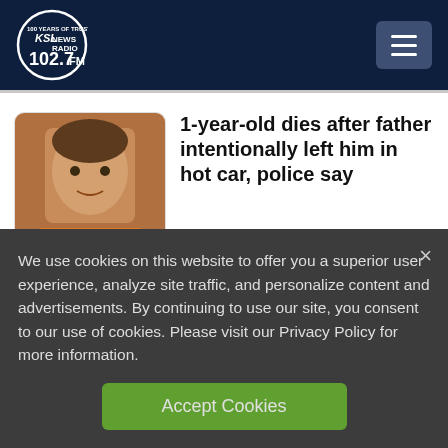KSL NewsRadio 102.7FM
1-year-old dies after father intentionally left him in hot car, police say
Car crash in West Jordan leaves one man dead
We use cookies on this website to offer you a superior user experience, analyze site traffic, and personalize content and advertisements. By continuing to use our site, you consent to our use of cookies. Please visit our Privacy Policy for more information.
Accept Cookies